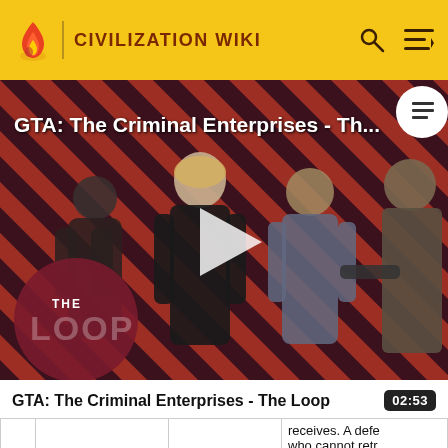CIVILIZATION WIKI
[Figure (screenshot): GTA: The Criminal Enterprises - The Loop video thumbnail with diagonal red and dark stripes background, character silhouettes, THE LOOP watermark, and a play button in the center.]
GTA: The Criminal Enterprises - Th...
GTA: The Criminal Enterprises - The Loop  02:53
|  |  |  | receives. A defe
who cannot retr
takes extra dam |
|  | Homeland Spending | Deploy | 25% Premiur |